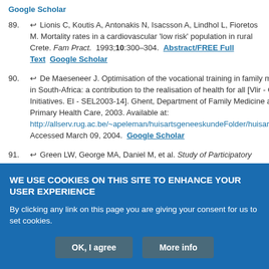Google Scholar
89. ↩ Lionis C, Koutis A, Antonakis N, Isacsson A, Lindhol L, Fioretos M. Mortality rates in a cardiovascular 'low risk' population in rural Crete. Fam Pract. 1993;10:300–304. Abstract/FREE Full Text Google Scholar
90. ↩ De Maeseneer J. Optimisation of the vocational training in family medicine in South-Africa: a contribution to the realisation of health for all [Vlir - Own Initiatives. EI - SEL2003-14]. Ghent, Department of Family Medicine and Primary Health Care, 2003. Available at: http://allserv.rug.ac.be/~apeleman/huisartsgeneeskundeFolder/huisartsgene... Accessed March 09, 2004. Google Scholar
91. ↩ Green LW, George MA, Daniel M, et al. Study of Participatory Research in Health Promotion. Ottawa: Royal Society of Canada; 1994.
WE USE COOKIES ON THIS SITE TO ENHANCE YOUR USER EXPERIENCE
By clicking any link on this page you are giving your consent for us to set cookies.